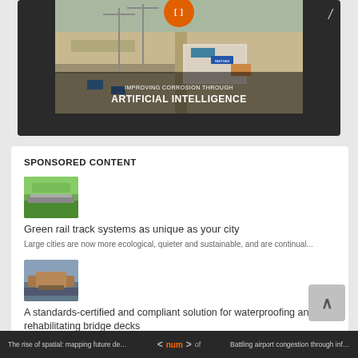[Figure (screenshot): Aerial photo of a large construction site with cranes and infrastructure, overlaid with text 'IMPROVING CORROSION THROUGH ARTIFICIAL INTELLIGENCE' on a dark background card with an orange circle play button at top.]
SPONSORED CONTENT
[Figure (photo): Thumbnail photo showing green rail track system with vegetation alongside tracks.]
Green rail track systems as unique as your city
Large cities are now more ecological, quieter and sustainable, and are continual...
[Figure (photo): Thumbnail photo showing a bridge or rail infrastructure with waterproofing application.]
A standards-certified and compliant solution for waterproofing and rehabilitating bridge decks
The rise of spatial: mapping future demand    <  num  >  of    Battling airport congestion through infras...